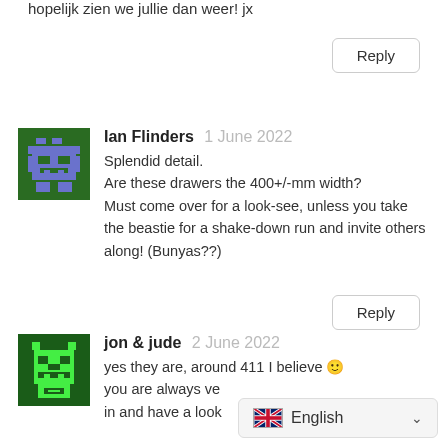hopelijk zien we jullie dan weer! jx
Reply
[Figure (illustration): Pixel art avatar for Ian Flinders — green and blue robot/alien on dark green background]
Ian Flinders  1 June 2022
Splendid detail.
Are these drawers the 400+/-mm width?
Must come over for a look-see, unless you take the beastie for a shake-down run and invite others along! (Bunyas??)
Reply
[Figure (illustration): Pixel art avatar for jon & jude — green face/robot on dark green background]
jon & jude  2 June 2022
yes they are, around 411 I believe 🙂
you are always ve
in and have a look
English